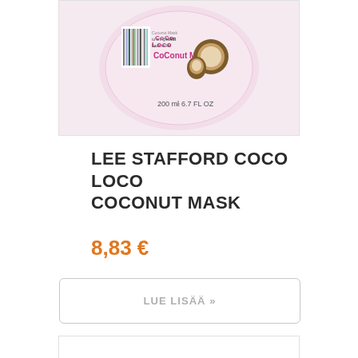[Figure (photo): Product photo of Lee Stafford Coco Loco Coconut Mask tin, 200 ml / 6.7 FL OZ, pink pastel color with barcode and coconut imagery visible on top of the lid.]
LEE STAFFORD COCO LOCO COCONUT MASK
8,83 €
LUE LISÄÄ »
[Figure (photo): Partial product image, cropped, at the bottom of the page (next product card, mostly blank).]